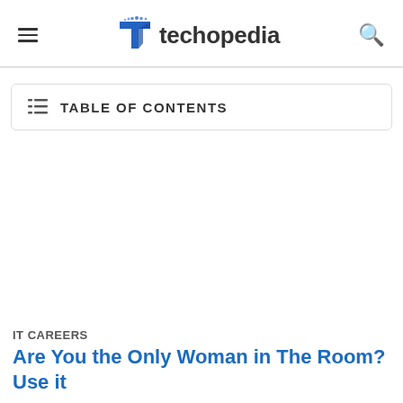[Figure (logo): Techopedia logo with blue T icon and text]
TABLE OF CONTENTS
IT CAREERS
Are You the Only Woman in The Room? Use it